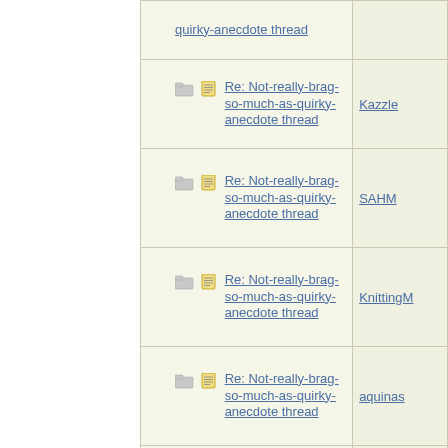| Subject | Author |
| --- | --- |
| quirky-anecdote thread |  |
| Re: Not-really-brag-so-much-as-quirky-anecdote thread | Kazzle |
| Re: Not-really-brag-so-much-as-quirky-anecdote thread | SAHM |
| Re: Not-really-brag-so-much-as-quirky-anecdote thread | KnittingM |
| Re: Not-really-brag-so-much-as-quirky-anecdote thread | aquinas |
| Re: Not-really-brag-so-much-as-quirky-anecdote thread | SAHM |
| Re: Not-really-brag-so-much-as-quirky-anecdote thread | Mana |